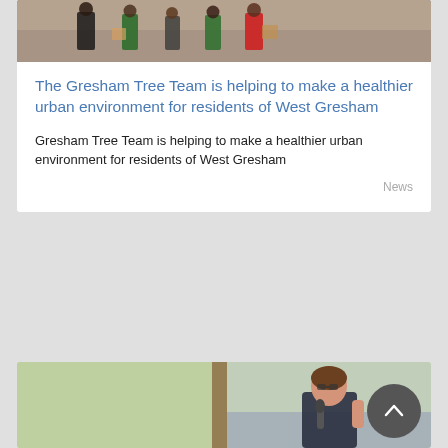[Figure (photo): Group of people outdoors, some wearing green shirts and red vests, holding boxes/materials]
The Gresham Tree Team is helping to make a healthier urban environment for residents of West Gresham
Gresham Tree Team is helping to make a healthier urban environment for residents of West Gresham
News
[Figure (photo): Woman with glasses holding a microphone and raising her hand, speaking at an outdoor event. A scroll-to-top button (dark circle with chevron up) overlays the bottom right.]